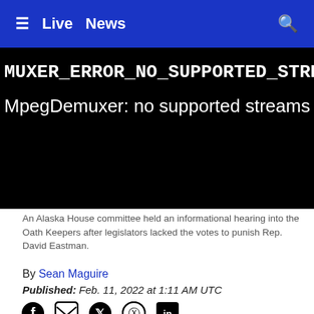≡  Live  News  🔍
[Figure (screenshot): Video player showing error: MUXER_ERROR_NO_SUPPORTED_STREAM and MpegDemuxer: no supported streams on black background]
An Alaska House committee held an informational hearing into the Oath Keepers after legislators lacked the votes to punish Rep. David Eastman.
By Sean Maguire
Published: Feb. 11, 2022 at 1:11 AM UTC
JUNEAU, Alaska (KTUU) - An Alaska House of Representatives committee held an informational hearing on Thursday to look into the Oath Keepers, a far-right